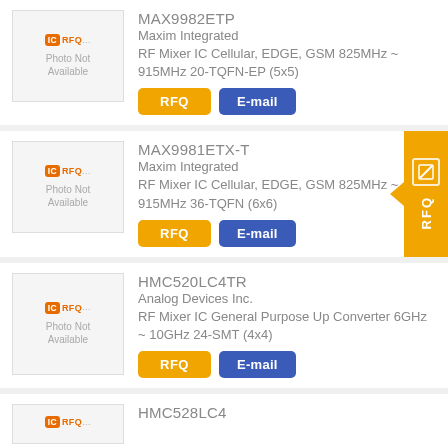[Figure (screenshot): IC RFQ product listing card for MAX9982ETP with Photo Not Available placeholder, RFQ and E-mail buttons]
[Figure (screenshot): IC RFQ product listing card for MAX9981ETX-T with Photo Not Available placeholder, RFQ and E-mail buttons, and orange RFQ sidebar]
[Figure (screenshot): IC RFQ product listing card for HMC520LC4TR with Photo Not Available placeholder, RFQ and E-mail buttons]
[Figure (screenshot): IC RFQ product listing card for HMC528LC4, partially visible at bottom]